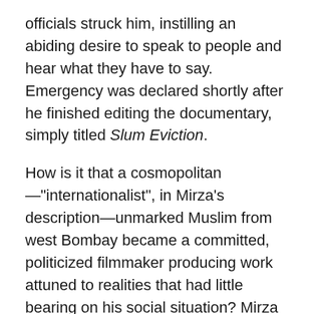officials struck him, instilling an abiding desire to speak to people and hear what they have to say. Emergency was declared shortly after he finished editing the documentary, simply titled Slum Eviction.
How is it that a cosmopolitan—"internationalist", in Mirza's description—unmarked Muslim from west Bombay became a committed, politicized filmmaker producing work attuned to realities that had little bearing on his social situation? Mirza traces the transformation to an incident from childhood. At the age of ten, he refused to enter the Bandra mosque with his father to offer prayers on the day of Id. He didn't believe in god anymore, he told his father, who asked him to remain seated at the steps outside the mosque. This original doubt paved way for others, taking him on a journey of progressive 'declassification' of the